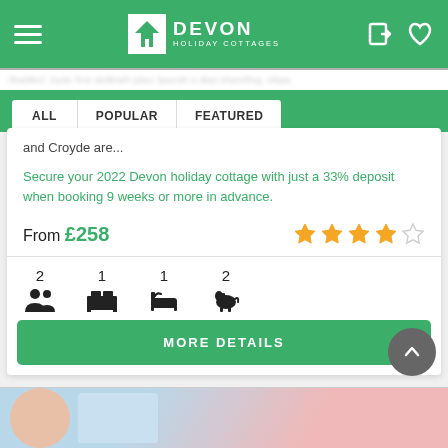Devon Holiday Cottages
and Croyde are...
Secure your 2022 Devon holiday cottage with just a 33% deposit when booking 9 weeks or more in advance.
From £258
[Figure (other): 4 out of 5 star rating shown with orange filled stars and one empty star]
2 guests, 1 bedroom, 1 bathroom, 2 dogs allowed
MORE DETAILS